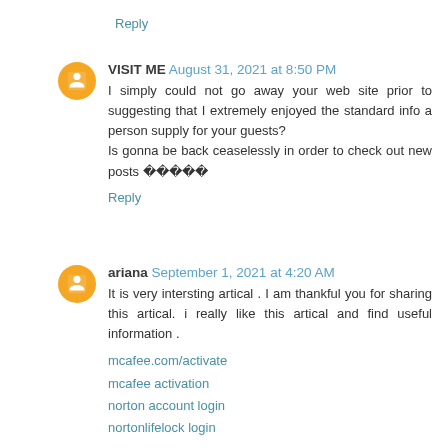Reply
VISIT ME  August 31, 2021 at 8:50 PM
I simply could not go away your web site prior to suggesting that I extremely enjoyed the standard info a person supply for your guests?
Is gonna be back ceaselessly in order to check out new posts 🏻🏻🏻🏻🏻
Reply
ariana  September 1, 2021 at 4:20 AM
It is very intersting artical . I am thankful you for sharing this artical. i really like this artical and find useful information .
mcafee.com/activate
mcafee activation
norton account login
nortonlifelock login